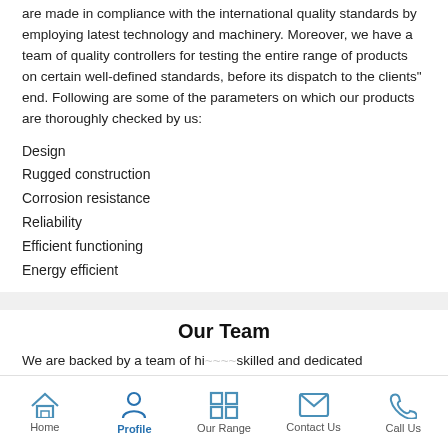are made in compliance with the international quality standards by employing latest technology and machinery. Moreover, we have a team of quality controllers for testing the entire range of products on certain well-defined standards, before its dispatch to the clients" end. Following are some of the parameters on which our products are thoroughly checked by us:
Design
Rugged construction
Corrosion resistance
Reliability
Efficient functioning
Energy efficient
Our Team
We are backed by a team of highly skilled and dedicated
Home | Profile | Our Range | Contact Us | Call Us